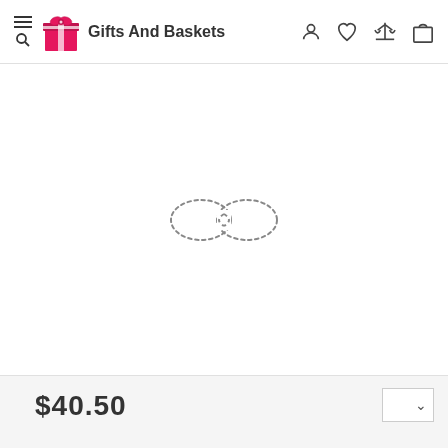Gifts And Baskets — navigation header with menu, search, user, wishlist, compare, and cart icons
[Figure (other): Loading spinner displayed as a dotted infinity symbol (∞) in the center of the main content area]
$40.50